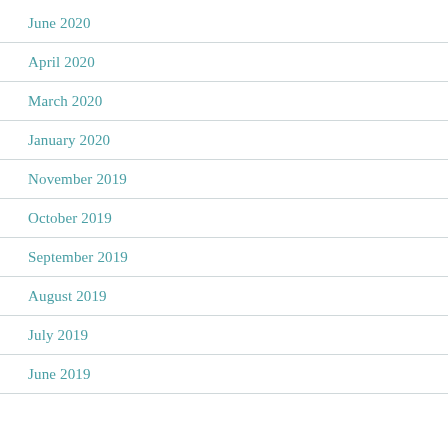June 2020
April 2020
March 2020
January 2020
November 2019
October 2019
September 2019
August 2019
July 2019
June 2019